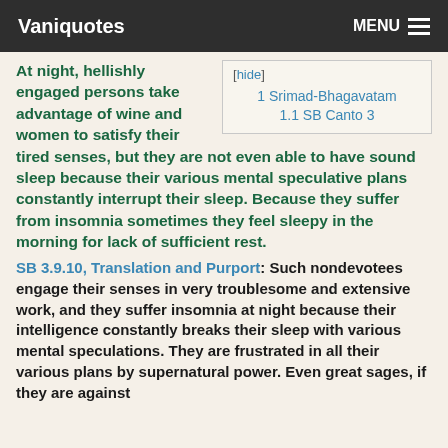Vaniquotes | MENU
| [hide] |
| --- |
| 1 Srimad-Bhagavatam |
| 1.1 SB Canto 3 |
At night, hellishly engaged persons take advantage of wine and women to satisfy their tired senses, but they are not even able to have sound sleep because their various mental speculative plans constantly interrupt their sleep. Because they suffer from insomnia sometimes they feel sleepy in the morning for lack of sufficient rest.
SB 3.9.10, Translation and Purport: Such nondevotees engage their senses in very troublesome and extensive work, and they suffer insomnia at night because their intelligence constantly breaks their sleep with various mental speculations. They are frustrated in all their various plans by supernatural power. Even great sages, if they are against